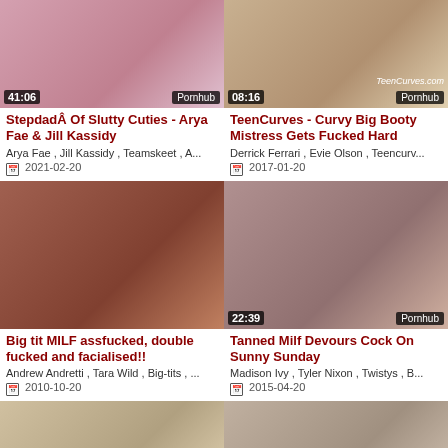[Figure (photo): Video thumbnail for Stepdad Of Slutty Cuties, duration 41:06, Pornhub]
StepdadÂ Of Slutty Cuties - Arya Fae & Jill Kassidy
Arya Fae , Jill Kassidy , Teamskeet , A...
2021-02-20
[Figure (photo): Video thumbnail for TeenCurves Curvy Big Booty Mistress Gets Fucked Hard, duration 08:16, Pornhub, TeenCurves.com]
TeenCurves - Curvy Big Booty Mistress Gets Fucked Hard
Derrick Ferrari , Evie Olson , Teencurv...
2017-01-20
[Figure (photo): Video thumbnail for Big tit MILF assfucked double fucked and facialised, duration 38:34, Pornhub]
Big tit MILF assfucked, double fucked and facialised!!
Andrew Andretti , Tara Wild , Big-tits , ...
2010-10-20
[Figure (photo): Video thumbnail for Tanned Milf Devours Cock On Sunny Sunday, duration 22:39, Pornhub]
Tanned Milf Devours Cock On Sunny Sunday
Madison Ivy , Tyler Nixon , Twistys , B...
2015-04-20
[Figure (photo): Video thumbnail bottom left, partially visible]
[Figure (photo): Video thumbnail bottom right, partially visible]